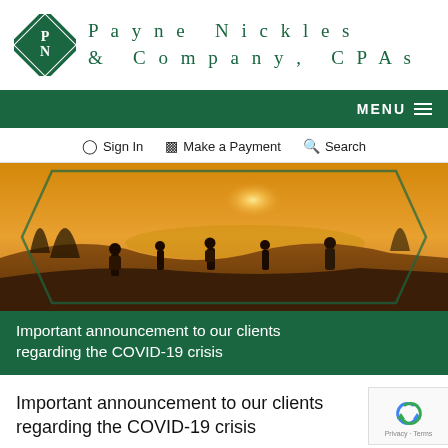[Figure (logo): Payne Nickles & Company CPAs logo with diamond shape and company name]
MENU
Sign In   Make a Payment   Search
[Figure (photo): Group of people with backpacks standing on a hilltop at sunset looking at the ocean]
Important announcement to our clients regarding the COVID-19 crisis
Important announcement to our clients regarding the COVID-19 crisis